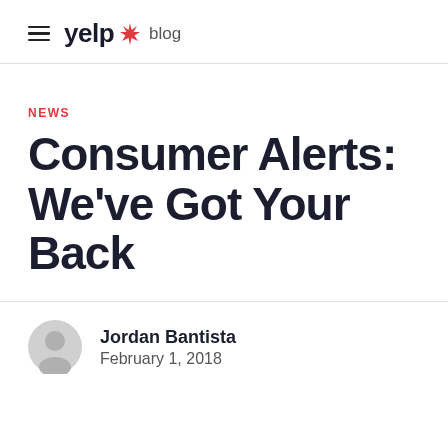≡ yelp 🌟 blog
NEWS
Consumer Alerts: We've Got Your Back
Jordan Bantista
February 1, 2018